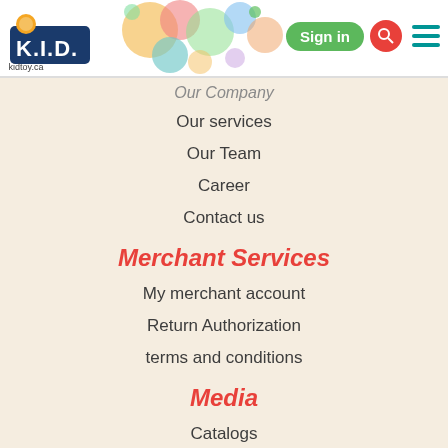[Figure (screenshot): KID toy website header with logo, colorful bubbles, Sign in button, search icon, and hamburger menu]
Our Company
Our services
Our Team
Career
Contact us
Merchant Services
My merchant account
Return Authorization
terms and conditions
Media
Catalogs
Our Products
New arrivals